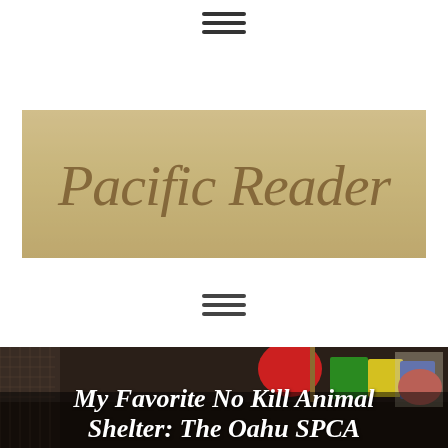[Figure (other): Hamburger menu icon at top center]
[Figure (photo): Photo of 'Pacific Reader' written in sand on a beach - sandy tan background with cursive handwritten text]
[Figure (other): Hamburger menu icon in the middle of the page]
[Figure (photo): Photo of an animal shelter play area with colorful toys/blocks (red, green, yellow, blue) and wire fencing in background, dark scene]
My Favorite No Kill Animal Shelter: The Oahu SPCA